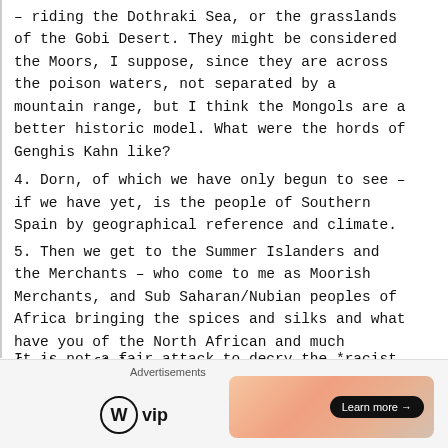– riding the Dothraki Sea, or the grasslands of the Gobi Desert. They might be considered the Moors, I suppose, since they are across the poison waters, not separated by a mountain range, but I think the Mongols are a better historic model. What were the hords of Genghis Kahn like?
4. Dorn, of which we have only begun to see – if we have yet, is the people of Southern Spain by geographical reference and climate.
5. Then we get to the Summer Islanders and the Merchants – who come to me as Moorish Merchants, and Sub Saharan/Nubian peoples of Africa bringing the spices and silks and what have you of the North African and much further afield ranges.
It is not a fair attack to decry the *racist attitudes* of
Advertisements
[Figure (logo): WordPress VIP logo with circle W icon and 'vip' text]
[Figure (illustration): Advertisement banner with gradient peach/orange background and 'Learn more →' button]